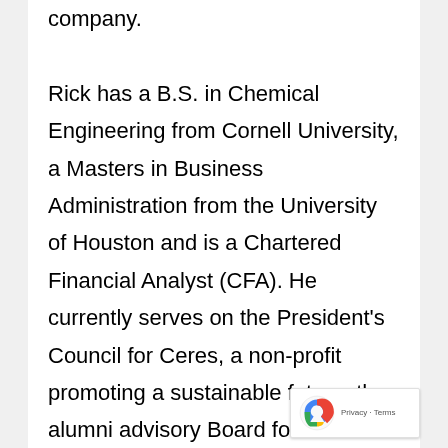company. Rick has a B.S. in Chemical Engineering from Cornell University, a Masters in Business Administration from the University of Houston and is a Chartered Financial Analyst (CFA). He currently serves on the President's Council for Ceres, a non-profit promoting a sustainable future; the alumni advisory Board for Cornell University's School of Chemical and Biomolecular Engineering; and on the alumni advisory board for Cornell's Atkinson's Center for a Sustainable